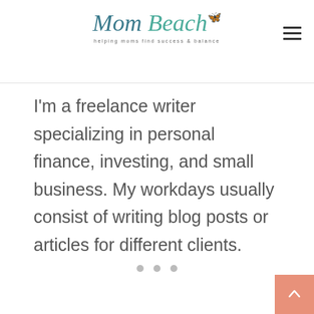Mom Beach — helping moms find success & balance
I'm a freelance writer specializing in personal finance, investing, and small business. My workdays usually consist of writing blog posts or articles for different clients.
[Figure (other): Accessibility icon — blue circle with white person symbol]
[Figure (other): Three gray navigation dots (carousel indicator)]
[Figure (other): Scroll to top button — pink square with upward arrow]